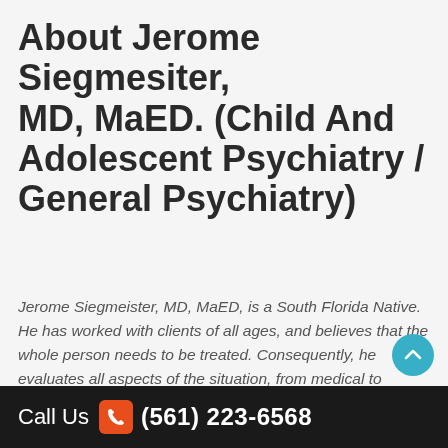About Jerome Siegmesiter, MD, MaED. (Child And Adolescent Psychiatry / General Psychiatry)
Jerome Siegmeister, MD, MaED, is a South Florida Native. He has worked with clients of all ages, and believes that the whole person needs to be treated. Consequently, he evaluates all aspects of the situation, from medical to situational, to determine the best initial course. He has a background in both individual and group therapies, employing supportive, behavioral, and insight oriented approaches, as appropriate to best fit his client's needs, as well as comfort with medical treatment of any underlying conditions that might manifest psychiatrically. He has significant experience in all forms of psychiatric issues, including mood symptoms, thought...
Call Us (561) 223-6568